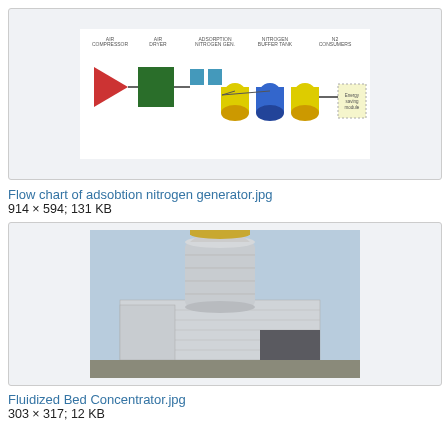[Figure (schematic): Flow chart of adsorption nitrogen generator showing colored process blocks (red, green, blue, yellow) connected with flow arrows on a white background]
Flow chart of adsobtion nitrogen generator.jpg
914 × 594; 131 KB
[Figure (photo): Photograph of a Fluidized Bed Concentrator industrial equipment — a large white/grey industrial unit with cylindrical vertical tower, rectangular base sections, against a light blue sky]
Fluidized Bed Concentrator.jpg
303 × 317; 12 KB